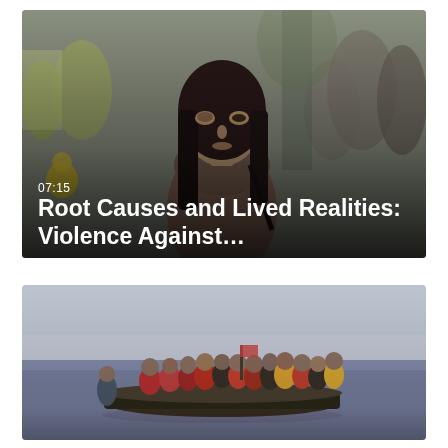[Figure (photo): Video thumbnail showing a young woman with long dark hair in a crowd, with a visible bruise under her eye. Text overlay shows duration 07:15 and title 'Root Causes and Lived Realities: Violence Against...']
[Figure (photo): Video thumbnail showing a large group of migrants/refugees crowded onto an inflatable rubber boat in open water, many wearing life jackets.]